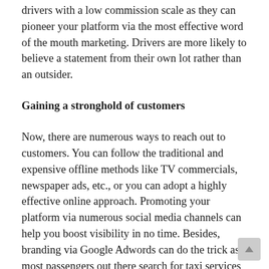drivers with a low commission scale as they can pioneer your platform via the most effective word of the mouth marketing. Drivers are more likely to believe a statement from their own lot rather than an outsider.
Gaining a stronghold of customers
Now, there are numerous ways to reach out to customers. You can follow the traditional and expensive offline methods like TV commercials, newspaper ads, etc., or you can adopt a highly effective online approach. Promoting your platform via numerous social media channels can help you boost visibility in no time. Besides, branding via Google Adwords can do the trick as most passengers out there search for taxi services online.